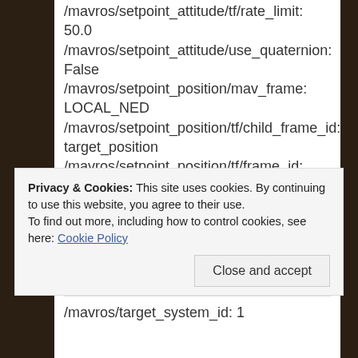/mavros/setpoint_attitude/tf/rate_limit:
50.0
/mavros/setpoint_attitude/use_quaternion:
False
/mavros/setpoint_position/mav_frame:
LOCAL_NED
/mavros/setpoint_position/tf/child_frame_id:
target_position
/mavros/setpoint_position/tf/frame_id:
map
/mavros/setpoint_position/tf/listen:
False
/mavros/setpoint_position/tf/rate_limit:
50.0
/mavros/setpoint_raw/thrust_scaling:
Privacy & Cookies: This site uses cookies. By continuing to use this website, you agree to their use.
To find out more, including how to control cookies, see here: Cookie Policy
/mavros/target_system_id: 1